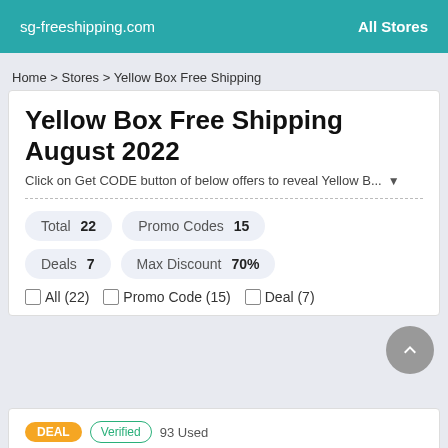sg-freeshipping.com   All Stores
Home > Stores > Yellow Box Free Shipping
Yellow Box Free Shipping August 2022
Click on Get CODE button of below offers to reveal Yellow B... ▼
| Label | Value |
| --- | --- |
| Total | 22 |
| Promo Codes | 15 |
| Deals | 7 |
| Max Discount | 70% |
☐ All (22)  ☐ Promo Code (15)  ☐ Deal (7)
DEAL  Verified  93 Used
Yellow Box Free Shipping...